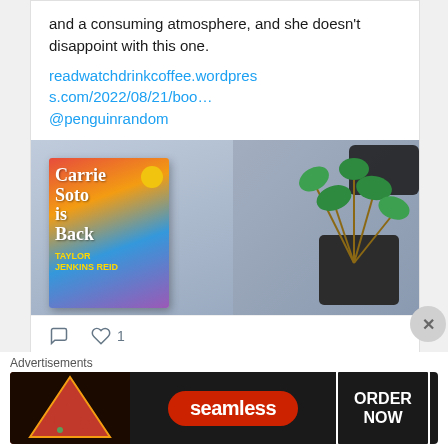and a consuming atmosphere, and she doesn't disappoint with this one.
readwatcndrinkcoffee.wordpress.com/2022/08/21/boo… @penguinrandom
[Figure (photo): Photo of a tablet displaying the book cover 'Carrie Soto is Back' by Taylor Jenkins Reid, next to a potted plant on a grey surface]
1 (heart icon)
Charlie Morri...
Advertisements
[Figure (infographic): Seamless food delivery advertisement banner with pizza image, Seamless logo, and ORDER NOW button]